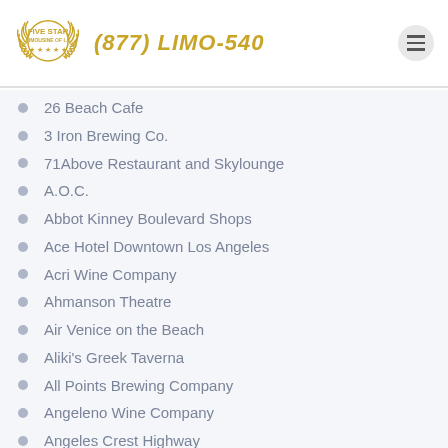Five Star Limousine of LA | (877) LIMO-540
26 Beach Cafe
3 Iron Brewing Co.
71Above Restaurant and Skylounge
A.O.C.
Abbot Kinney Boulevard Shops
Ace Hotel Downtown Los Angeles
Acri Wine Company
Ahmanson Theatre
Air Venice on the Beach
Aliki's Greek Taverna
All Points Brewing Company
Angeleno Wine Company
Angeles Crest Highway
Angelini Osteria
Angels Flight Railway
Angels Stadium
Animal